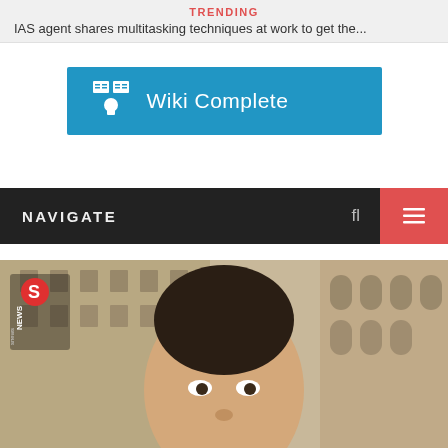TRENDING
IAS agent shares multitasking techniques at work to get the...
[Figure (logo): Wiki Complete blue button with book/person icon]
NAVIGATE
[Figure (photo): Photo of a man in front of a large stone building, with Snews logo overlay]